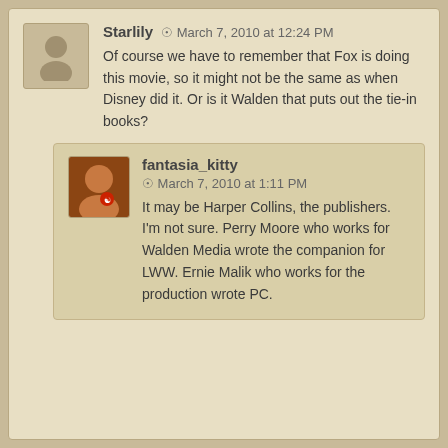Starlily © March 7, 2010 at 12:24 PM — Of course we have to remember that Fox is doing this movie, so it might not be the same as when Disney did it. Or is it Walden that puts out the tie-in books?
fantasia_kitty © March 7, 2010 at 1:11 PM — It may be Harper Collins, the publishers. I'm not sure. Perry Moore who works for Walden Media wrote the companion for LWW. Ernie Malik who works for the production wrote PC.